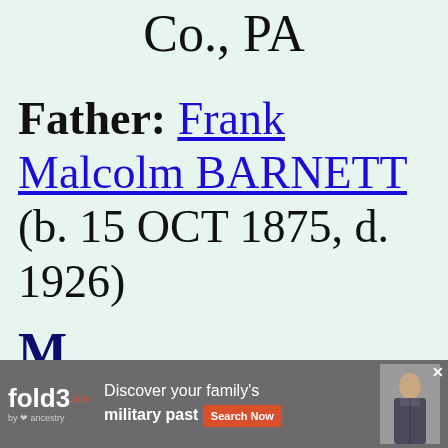Co., PA
Father: Frank Malcolm BARNETT (b. 15 OCT 1875, d. 1926)
[Figure (screenshot): fold3 by Ancestry advertisement banner: 'Discover your family's military past' with Search Now button and photo of a Civil War soldier]
M...